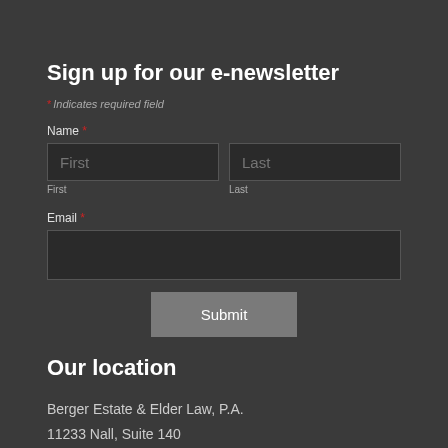Sign up for our e-newsletter
* Indicates required field
Name *
First
Last
First
Last
Email *
Submit
Our location
Berger Estate & Elder Law, P.A.
11233 Nall, Suite 140